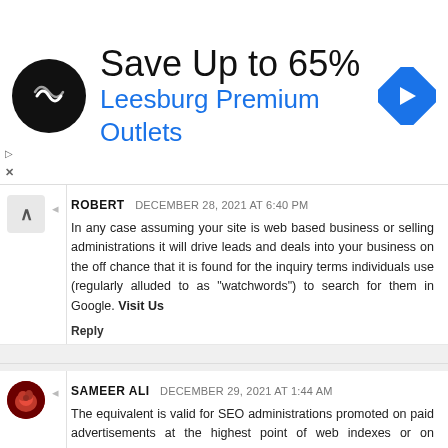[Figure (infographic): Ad banner: Save Up to 65% Leesburg Premium Outlets with logo and navigation arrow icon]
ROBERT  DECEMBER 28, 2021 AT 6:40 PM
In any case assuming your site is web based business or selling administrations it will drive leads and deals into your business on the off chance that it is found for the inquiry terms individuals use (regularly alluded to as "watchwords") to search for them in Google. Visit Us
Reply
SAMEER ALI  DECEMBER 29, 2021 AT 1:44 AM
The equivalent is valid for SEO administrations promoted on paid advertisements at the highest point of web indexes or on standard promotions on different sites.SEO Agency Dubai
Seo Company in Dubai
Reply